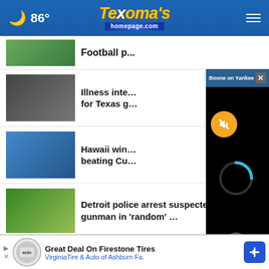86° Texoma's homepage.com
Illness inte... for Texas g...
Hawaii win... beating Cu...
Detroit police arrest suspected gunman in 'random' …
Hotter'N Hell wraps up with Criterium and trail races
Watch: Lightning strikes NASA Artemis I. moon rocket …
[Figure (screenshot): Video overlay popup with title 'Boone on Yankees' tough loss', mute button, loading spinner, and close button over news feed]
[Figure (infographic): Ad bar: Great Deal On Firestone Tires - VirginiaTire & Auto of Ashburn Fa.]